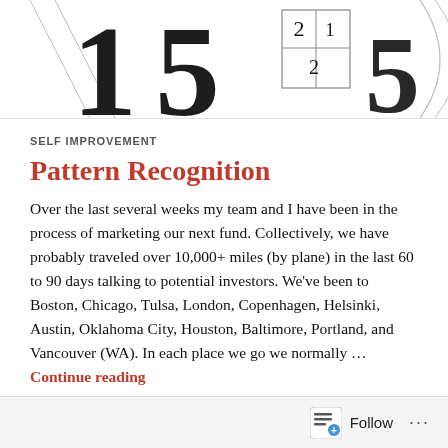[Figure (illustration): Decorative header image with large serif numerals '15', a small grid/table graphic with numbers 2, 1, 2, and the numeral '5', with diagonal lines and curves in the background.]
SELF IMPROVEMENT
Pattern Recognition
Over the last several weeks my team and I have been in the process of marketing our next fund. Collectively, we have probably traveled over 10,000+ miles (by plane) in the last 60 to 90 days talking to potential investors. We've been to Boston, Chicago, Tulsa, London, Copenhagen, Helsinki, Austin, Oklahoma City, Houston, Baltimore, Portland, and Vancouver (WA). In each place we go we normally … Continue reading
APRIL 29, 2018 / LEAVE A COMMENT
[Figure (other): Footer bar with Follow button and icon, and three dots menu.]